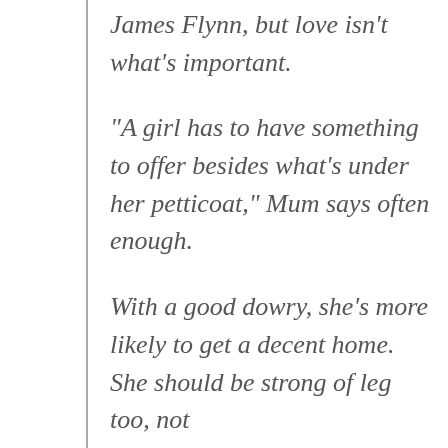James Flynn, but love isn't what's important.
“A girl has to have something to offer besides what’s under her petticoat,” Mum says often enough.
With a good dowry, she’s more likely to get a decent home.  She should be strong of leg too, not